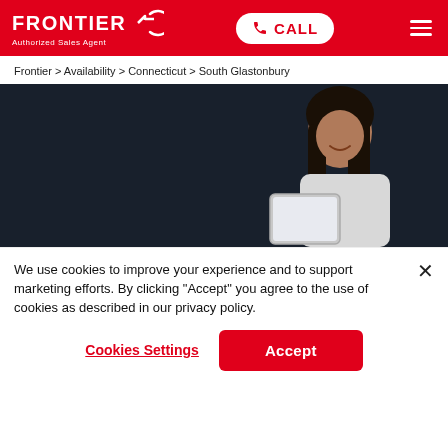FRONTIER Authorized Sales Agent | CALL | Menu
Frontier > Availability > Connecticut > South Glastonbury
[Figure (photo): Dark background hero image with a smiling woman holding a tablet, wearing a white shirt]
We use cookies to improve your experience and to support marketing efforts. By clicking "Accept" you agree to the use of cookies as described in our privacy policy.
Cookies Settings
Accept